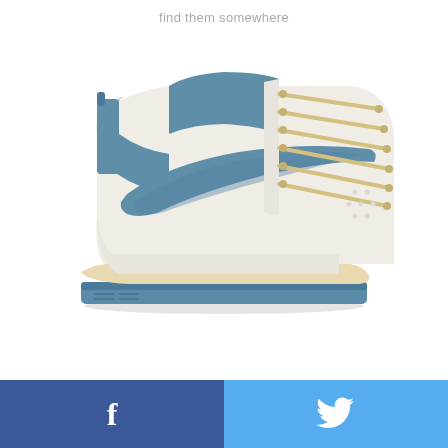find them somewhere
[Figure (photo): Nike SB Dunk High sneaker in white/cream leather with steel blue swoosh, collar, heel tab, and outsole, with cream/yellow laces, shown in side profile view on white background.]
[Figure (other): Social sharing bar with Facebook (blue, 'f' icon) button on left and Twitter (light blue, bird icon) button on right.]